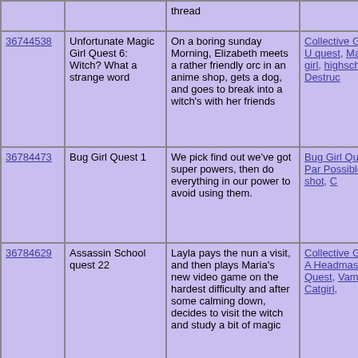| ID | Title | Description | Tags |
| --- | --- | --- | --- |
|  |  | thread |  |
| 36744538 | Unfortunate Magic Girl Quest 6: Witch? What a strange word | On a boring sunday Morning, Elizabeth meets a rather friendly orc in an anime shop, gets a dog, and goes to break into a witch's with her friends | Collective Game, U quest, Magical girl, highschool, Destruc |
| 36784473 | Bug Girl Quest 1 | We pick find out we've got super powers, then do everything in our power to avoid using them. | Bug Girl Quest, Par Possible one shot, C |
| 36784629 | Assassin School quest 22 | Layla pays the nun a visit, and then plays Maria's new video game on the hardest difficulty and after some calming down, decides to visit the witch and study a bit of magic | Collective Game, A Headmaster, Quest, Vampire, Catgirl, |
| 36803706 | Bug Girl Quest 2: | Where rescue our comrades and fight a war, then we do some investigating and accidentally the soul of | Bug Girl Quest, Par Game, |